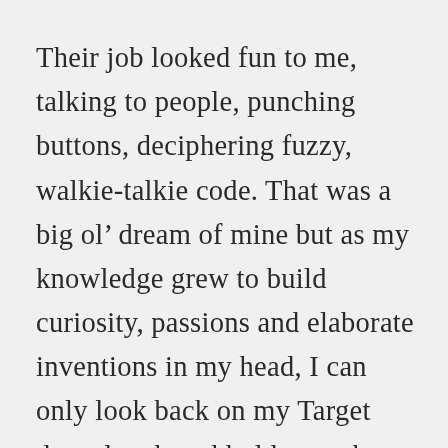Their job looked fun to me, talking to people, punching buttons, deciphering fuzzy, walkie-talkie code. That was a big ol’ dream of mine but as my knowledge grew to build curiosity, passions and elaborate inventions in my head, I can only look back on my Target days, laugh and hold onto that innocence that once was. I am the farthest thing from being a realist.